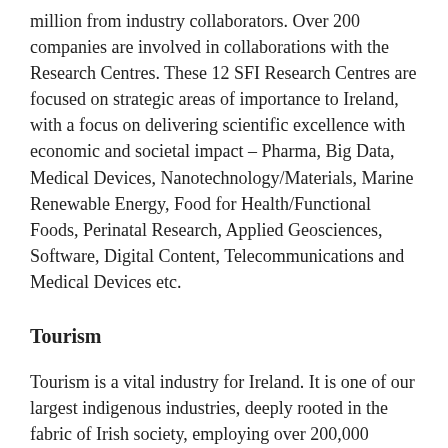million from industry collaborators. Over 200 companies are involved in collaborations with the Research Centres. These 12 SFI Research Centres are focused on strategic areas of importance to Ireland, with a focus on delivering scientific excellence with economic and societal impact – Pharma, Big Data, Medical Devices, Nanotechnology/Materials, Marine Renewable Energy, Food for Health/Functional Foods, Perinatal Research, Applied Geosciences, Software, Digital Content, Telecommunications and Medical Devices etc.
Tourism
Tourism is a vital industry for Ireland. It is one of our largest indigenous industries, deeply rooted in the fabric of Irish society, employing over 200,000 people across the country.
In 2014, it is estimated that overseas tourism delivered €3.7 billion to the Irish economy. According to the Central Statistics Office, there were 7.6 million overseas visits to Ireland in 2014, an increase of almost 9% on the previous year.
This growth did not happen by accident. The Irish Government is fully committed to tourism and recognises it